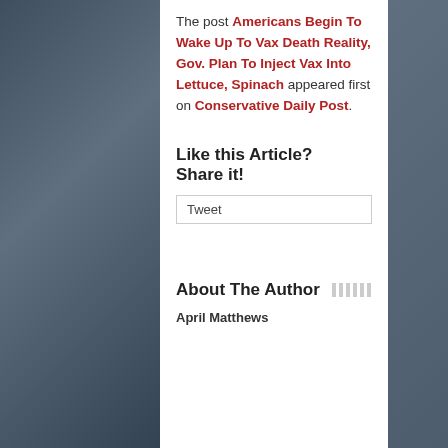The post Americans Begin To Wake Up To Vax Death Reality, Gov. Plan To Inject Vax Into Lettuce, Spinach appeared first on Conservative Daily Post.
Like this Article? Share it!
Tweet
About The Author
April Matthews